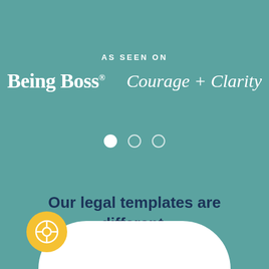AS SEEN ON
[Figure (logo): Being Boss and Courage + Clarity logos side by side in white text on teal background]
[Figure (infographic): Three pagination dots: one filled white, two empty circle outlines]
Our legal templates are different. Here's why.
[Figure (illustration): White rounded arch shape at bottom of page with yellow circular icon (life preserver/help icon) at bottom left]